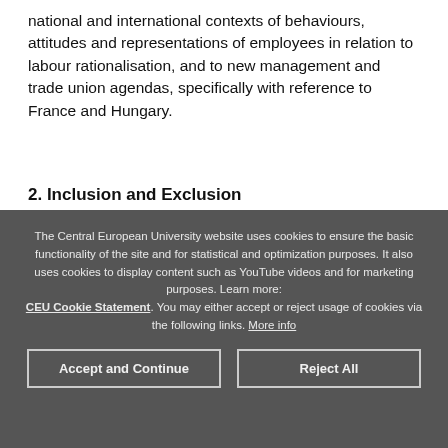national and international contexts of behaviours, attitudes and representations of employees in relation to labour rationalisation, and to new management and trade union agendas, specifically with reference to France and Hungary.
2. Inclusion and Exclusion
The Central European University website uses cookies to ensure the basic functionality of the site and for statistical and optimization purposes. It also uses cookies to display content such as YouTube videos and for marketing purposes. Learn more: CEU Cookie Statement. You may either accept or reject usage of cookies via the following links. More info